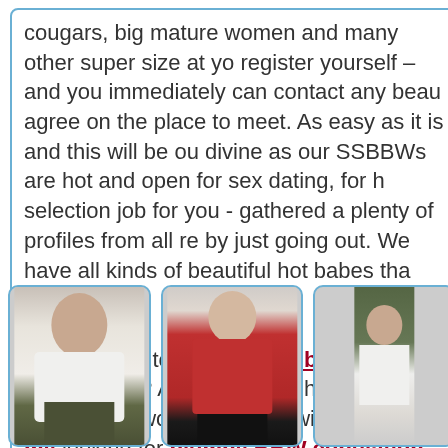cougars, big mature women and many other super size at yo... register yourself – and you immediately can contact any beau... agree on the place to meet. As easy as it is and this will be ou... divine as our SSBBWs are hot and open for sex dating, for h... selection job for you - gathered a plenty of profiles from all re... by just going out. We have all kinds of beautiful hot babes tha... dreams.

Do you want to meet a hot bbw milf for a bbw dating? Are y... provides huge numbers of women profiles with hot BBW mil... looking for plumpy BBW copulation tonight!
[Figure (photo): Three photos of plus-size women in bordered cards with blue rounded borders]